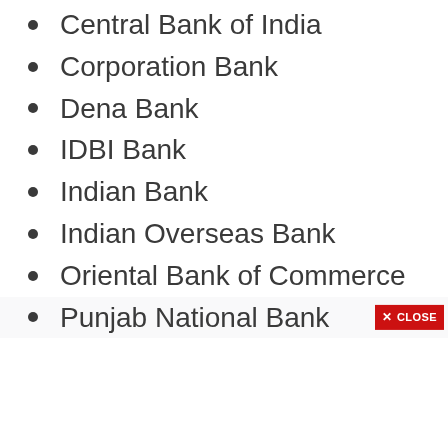Central Bank of India
Corporation Bank
Dena Bank
IDBI Bank
Indian Bank
Indian Overseas Bank
Oriental Bank of Commerce
Punjab National Bank